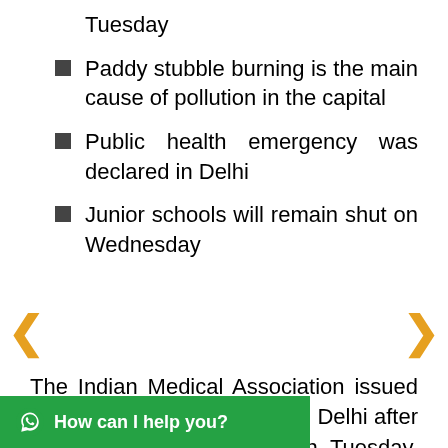Tuesday
Paddy stubble burning is the main cause of pollution in the capital
Public health emergency was declared in Delhi
Junior schools will remain shut on Wednesday
The Indian Medical Association issued a public health emergency in Delhi after air quality fell to severe on Tuesday. The entire capital was shrouded in a thick blanket of haze, as paddy burning in Punjab and Haryana wrecking havoc across the city. The